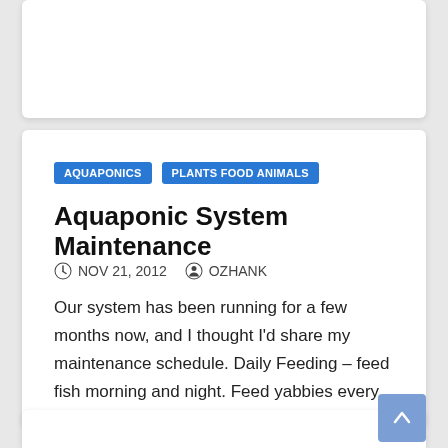AQUAPONICS
PLANTS FOOD ANIMALS
Aquaponic System Maintenance
NOV 21, 2012   OZHANK
Our system has been running for a few months now, and I thought I’d share my maintenance schedule. Daily Feeding – feed fish morning and night. Feed yabbies every second…